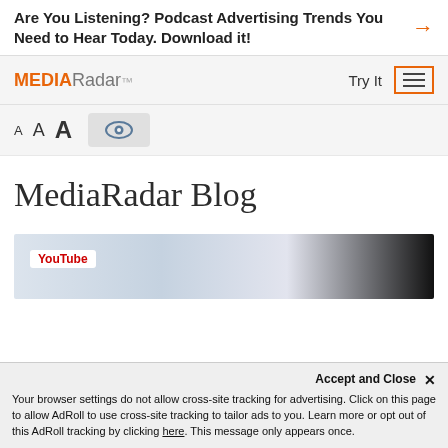Are You Listening? Podcast Advertising Trends You Need to Hear Today. Download it!
[Figure (screenshot): MediaRadar website navigation bar with logo, Try It button, and hamburger menu with orange border]
[Figure (screenshot): Accessibility font size bar with A A A controls and eye icon]
MediaRadar Blog
[Figure (screenshot): Partial screenshot showing YouTube logo and website content image strip]
Accept and Close ✕
Your browser settings do not allow cross-site tracking for advertising. Click on this page to allow AdRoll to use cross-site tracking to tailor ads to you. Learn more or opt out of this AdRoll tracking by clicking here. This message only appears once.